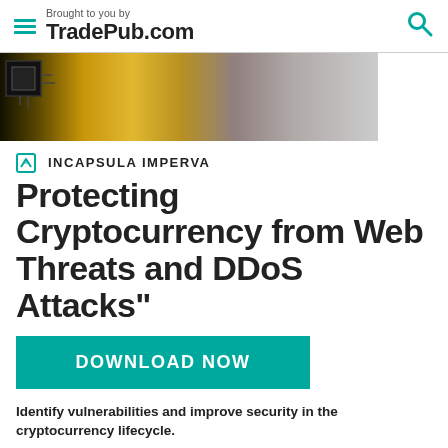Brought to you by TradePub.com
[Figure (photo): Banner image showing cryptocurrency gold coins and circuit board texture]
[Figure (logo): Incapsula Imperva logo with shield icon]
Protecting Cryptocurrency from Web Threats and DDoS Attacks"
[Figure (other): DOWNLOAD NOW button in teal/green color]
Identify vulnerabilities and improve security in the cryptocurrency lifecycle.
In March 2018 there were more than 1,000 cryptocurrencies in